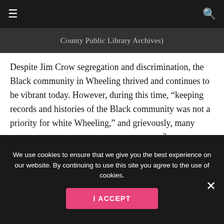County Public Library Archives)
Despite Jim Crow segregation and discrimination, the Black community in Wheeling thrived and continues to be vibrant today. However, during this time, “keeping records and histories of the Black community was not a priority for white Wheeling,” and grievously, many memories and historical records were lost.² Today, the library is committed to reviving as much Wheeling African American history as possible. To this mission, archivist Laura Carroll explains that “one of the main goals of the Ohio County Public Library Archives is to make our collections available and easy to use. We are also working to better document people of color and marginalized communities in Wheeling. Emma’s work
We use cookies to ensure that we give you the best experience on our website. By continuing to use this site you agree to the use of cookies.